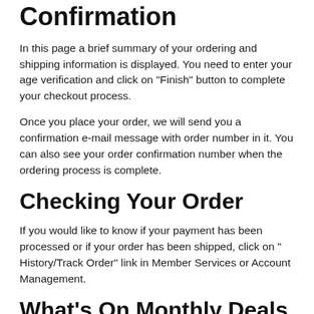Order Summary and Confirmation
In this page a brief summary of your ordering and shipping information is displayed. You need to enter your age verification and click on "Finish" button to complete your checkout process.
Once you place your order, we will send you a confirmation e-mail message with order number in it. You can also see your order confirmation number when the ordering process is complete.
Checking Your Order
If you would like to know if your payment has been processed or if your order has been shipped, click on " History/Track Order" link in Member Services or Account Management.
What's On Monthly Deals Now?
Every month we put a list of special items for sale. These items are normally discounted and are available at lower price than our normal retail price. Please come back often to check on these sale